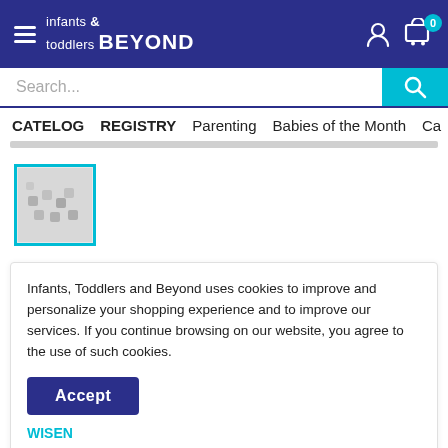infants & toddlers BEYOND
CATELOG  REGISTRY  Parenting  Babies of the Month  Ca
[Figure (photo): Small thumbnail image of baby items/toys with a teal border]
Infants, Toddlers and Beyond uses cookies to improve and personalize your shopping experience and to improve our services. If you continue browsing on our website, you agree to the use of such cookies.
Accept
WISEN